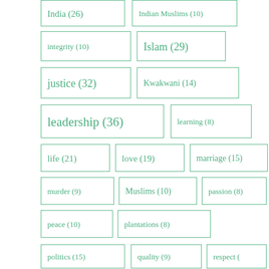[Figure (infographic): Tag cloud showing various topics with their post counts: India (26), Indian Muslims (10), integrity (10), Islam (29), justice (32), Kwakwani (14), leadership (36), learning (8), life (21), love (19), marriage (15), murder (9), Muslims (10), passion (8), peace (10), plantations (8), politics (15), quality (9), respect (?), responsibility (12), risk (16)]